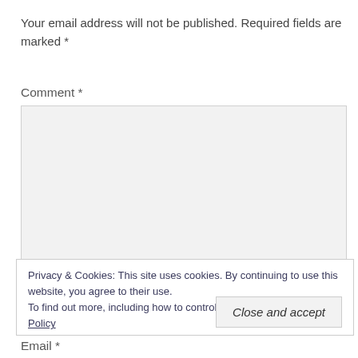Your email address will not be published. Required fields are marked *
Comment *
[Figure (other): Large comment text area input box with light gray background]
Privacy & Cookies: This site uses cookies. By continuing to use this website, you agree to their use.
To find out more, including how to control cookies, see here: Privacy Policy
Close and accept
Email *